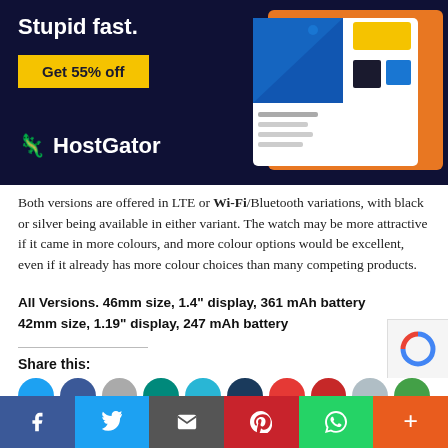[Figure (illustration): HostGator advertisement banner with dark navy background. Text 'Stupid fast.' in white, yellow 'Get 55% off' button, HostGator logo with gecko icon in white text, and a stylized dashboard/website illustration on the right in blue, orange, yellow and black geometric shapes.]
Both versions are offered in LTE or Wi-Fi/Bluetooth variations, with black or silver being available in either variant. The watch may be more attractive if it came in more colours, and more colour options would be excellent, even if it already has more colour choices than many competing products.
All Versions. 46mm size, 1.4" display, 361 mAh battery
42mm size, 1.19" display, 247 mAh battery
Share this: